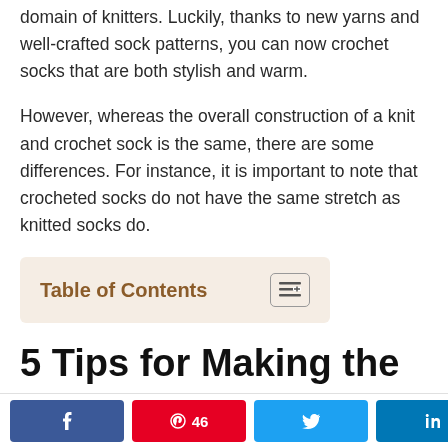domain of knitters. Luckily, thanks to new yarns and well-crafted sock patterns, you can now crochet socks that are both stylish and warm.
However, whereas the overall construction of a knit and crochet sock is the same, there are some differences. For instance, it is important to note that crocheted socks do not have the same stretch as knitted socks do.
Table of Contents
5 Tips for Making the Perfect Pair of Crocheted
< 46 SHARES [Facebook] [Pinterest 46] [Twitter] [LinkedIn]